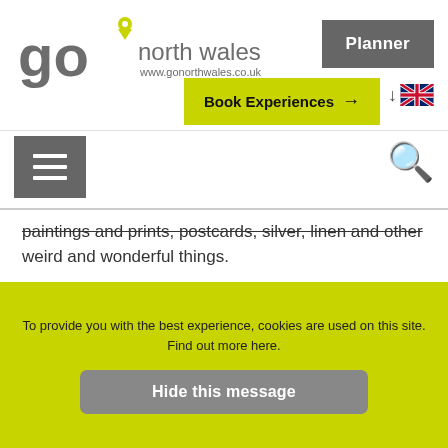[Figure (logo): Go North Wales logo with location pin and URL www.gonorthwales.co.uk]
[Figure (screenshot): Planner button (grey)]
[Figure (screenshot): Book Experiences button (yellow-green with arrow)]
[Figure (screenshot): Language selector with UK flag]
[Figure (screenshot): Hamburger menu icon and search icon]
paintings and prints, postcards, silver, linen and other weird and wonderful things.
Stalls £15, please check for availability.
To comply with restrictions and until informed otherwise hand sanitizer must be used and a face mask worn.
To provide you with the best experience, cookies are used on this site. Find out more here.
Hide this message